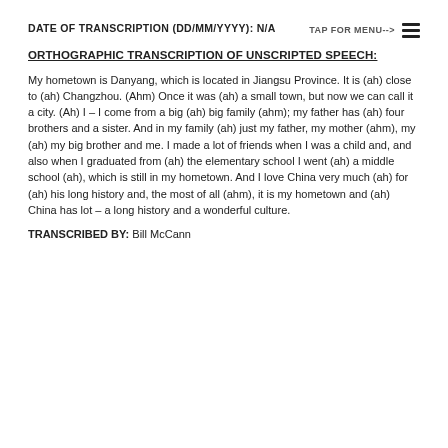DATE OF TRANSCRIPTION (DD/MM/YYYY): N/A
ORTHOGRAPHIC TRANSCRIPTION OF UNSCRIPTED SPEECH:
My hometown is Danyang, which is located in Jiangsu Province. It is (ah) close to (ah) Changzhou. (Ahm) Once it was (ah) a small town, but now we can call it a city. (Ah) I – I come from a big (ah) big family (ahm); my father has (ah) four brothers and a sister. And in my family (ah) just my father, my mother (ahm), my (ah) my big brother and me. I made a lot of friends when I was a child and, and also when I graduated from (ah) the elementary school I went (ah) a middle school (ah), which is still in my hometown. And I love China very much (ah) for (ah) his long history and, the most of all (ahm), it is my hometown and (ah) China has lot – a long history and a wonderful culture.
TRANSCRIBED BY: Bill McCann